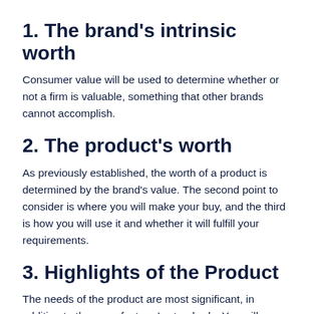1. The brand's intrinsic worth
Consumer value will be used to determine whether or not a firm is valuable, something that other brands cannot accomplish.
2. The product's worth
As previously established, the worth of a product is determined by the brand's value. The second point to consider is where you will make your buy, and the third is how you will use it and whether it will fulfill your requirements.
3. Highlights of the Product
The needs of the product are most significant, in addition to the manufacturer's standards. You will